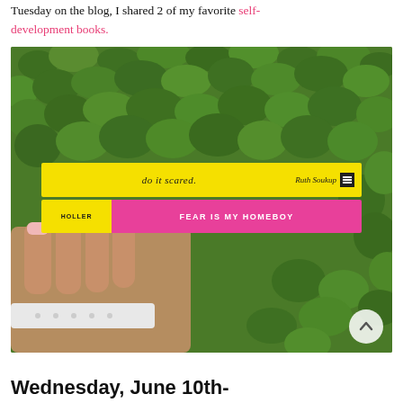Tuesday on the blog, I shared 2 of my favorite self-development books.
[Figure (photo): A hand holding two book spines against a green leafy background. Top book: yellow spine reading 'do it scared.' by Ruth Soukup with a publisher logo. Bottom book: yellow and hot-pink spine reading 'HOLLER | FEAR IS MY HOMEBOY' in white bold text.]
Wednesday, June 10th-